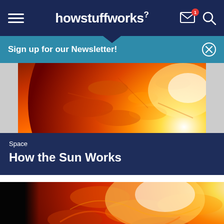howstuffworks
Sign up for our Newsletter!
[Figure (photo): Close-up photograph of the sun's surface showing orange and red solar flares and plasma features against a fiery background]
Space
How the Sun Works
[Figure (photo): Close-up photograph of the sun showing bright white-yellow and orange solar surface with flares, with black space visible on the left edge]